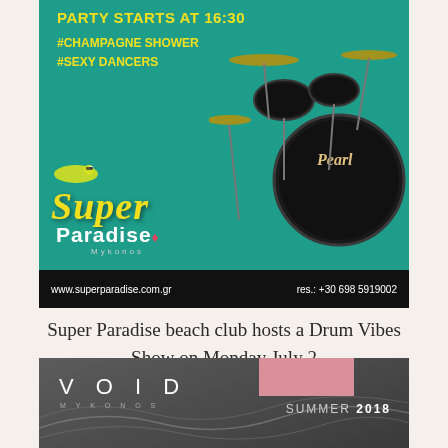[Figure (photo): Super Paradise beach club promotional image on teal background showing Pearl drum kit, yellow text 'PARTY STARTS AT 16:30 #CHAMPAGNE SHOWER #SEXY DANCERS', Super Paradise Mykonos logo in yellow script, and bottom bar with website www.superparadise.com.gr and res.: +30 698 5919002]
Super Paradise beach club hosts a Drum Vibes Show on Monday July 2
[Figure (photo): VOID Mykonos promotional banner with dark grey background showing VOID MYKONOS logo in white spaced letters, SUMMER 2018 text with pink/salmon rectangle accent, and abstract wave lines]